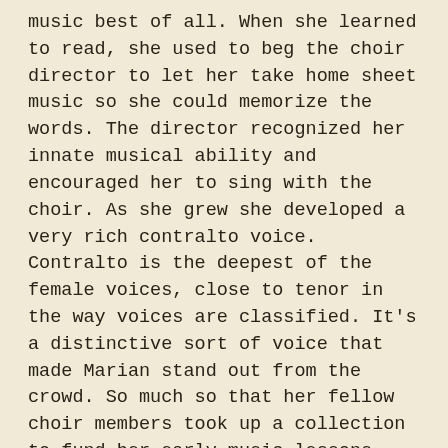music best of all. When she learned to read, she used to beg the choir director to let her take home sheet music so she could memorize the words. The director recognized her innate musical ability and encouraged her to sing with the choir. As she grew she developed a very rich contralto voice. Contralto is the deepest of the female voices, close to tenor in the way voices are classified. It's a distinctive sort of voice that made Marian stand out from the crowd. So much so that her fellow choir members took up a collection to fund her early music lessons.
As a young woman, Marian entered a singing contest and won the prize out of 300 contestants. But it wasn't just any prize; this one proved to be life-changing. The prize was to perform as a featured soloist with the New York Philharmonic Orchestra. After that experience, a whole world opened up to Marian in the field of classical music. She went on to win other contests and fellowships that funded her continuing music studies. I find it noteworthy that even though she was born with